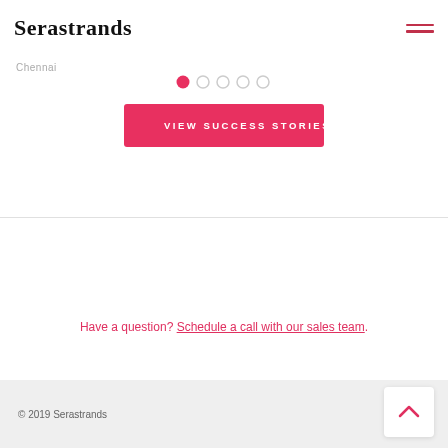Serastrands
Chennai
[Figure (other): Carousel pagination dots: 5 dots, first active (pink), rest grey]
VIEW SUCCESS STORIES
Have a question? Schedule a call with our sales team.
© 2019 Serastrands